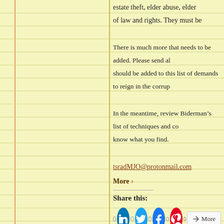estate theft, elder abuse, elder isolation, absence of due process of law and rights. They must be prosecuted as any other
There is much more that needs to be added. Please send all that should be added to this list of demands to reign in the corrup
In the meantime, review Biderman’s list of techniques and co know what you find.
tsradMJO@protonmail.com
More ❯
Share this:
[Figure (infographic): Social sharing buttons: LinkedIn, Twitter, Facebook, Pinterest (with badge 1), and More button]
[Figure (infographic): Like button and 4 blogger avatars]
4 bloggers like this.
TS Radio Network: Lisa Belanger